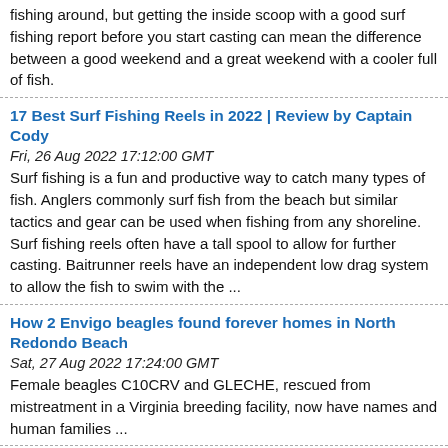fishing around, but getting the inside scoop with a good surf fishing report before you start casting can mean the difference between a good weekend and a great weekend with a cooler full of fish.
17 Best Surf Fishing Reels in 2022 | Review by Captain Cody
Fri, 26 Aug 2022 17:12:00 GMT
Surf fishing is a fun and productive way to catch many types of fish. Anglers commonly surf fish from the beach but similar tactics and gear can be used when fishing from any shoreline. Surf fishing reels often have a tall spool to allow for further casting. Baitrunner reels have an independent low drag system to allow the fish to swim with the ...
How 2 Envigo beagles found forever homes in North Redondo Beach
Sat, 27 Aug 2022 17:24:00 GMT
Female beagles C10CRV and GLECHE, rescued from mistreatment in a Virginia breeding facility, now have names and human families ...
When did 'beach essentials' go from book and chair to charcoal grill and espresso maker?
Sat, 27 Aug 2022 14:15:00 GMT
On the Caspian Avenue beach in Atlantic City, Steven "Wes" Wesley lifted the lid on his mini charcoal grill and carefully tended to a full pit